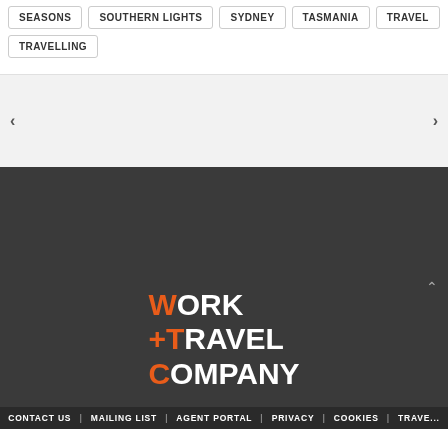SEASONS
SOUTHERN LIGHTS
SYDNEY
TASMANIA
TRAVEL
TRAVELLING
[Figure (screenshot): Navigation section with left and right arrow buttons on a light grey background]
[Figure (logo): Work + Travel Company logo with orange and white text on dark grey background]
CONTACT US | MAILING LIST | AGENT PORTAL | PRIVACY | COOKIES | TRAVE...